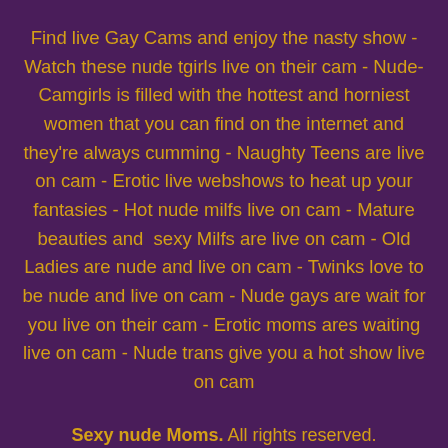Find live Gay Cams and enjoy the nasty show - Watch these nude tgirls live on their cam - Nude-Camgirls is filled with the hottest and horniest women that you can find on the internet and they're always cumming - Naughty Teens are live on cam - Erotic live webshows to heat up your fantasies - Hot nude milfs live on cam - Mature beauties and  sexy Milfs are live on cam - Old Ladies are nude and live on cam - Twinks love to be nude and live on cam - Nude gays are wait for you live on their cam - Erotic moms ares waiting live on cam - Nude trans give you a hot show live on cam
Sexy nude Moms. All rights reserved.